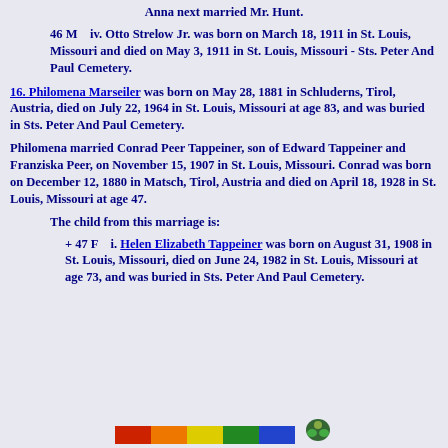Anna next married Mr. Hunt.
46 M    iv. Otto Strelow Jr. was born on March 18, 1911 in St. Louis, Missouri and died on May 3, 1911 in St. Louis, Missouri - Sts. Peter And Paul Cemetery.
16. Philomena Marseiler was born on May 28, 1881 in Schluderns, Tirol, Austria, died on July 22, 1964 in St. Louis, Missouri at age 83, and was buried in Sts. Peter And Paul Cemetery.
Philomena married Conrad Peer Tappeiner, son of Edward Tappeiner and Franziska Peer, on November 15, 1907 in St. Louis, Missouri. Conrad was born on December 12, 1880 in Matsch, Tirol, Austria and died on April 18, 1928 in St. Louis, Missouri at age 47.
The child from this marriage is:
+ 47 F    i. Helen Elizabeth Tappeiner was born on August 31, 1908 in St. Louis, Missouri, died on June 24, 1982 in St. Louis, Missouri at age 73, and was buried in Sts. Peter And Paul Cemetery.
[Figure (illustration): Colorful decorative footer bar with rainbow/flag colors (red, orange, yellow, green, blue) and a small decorative icon]